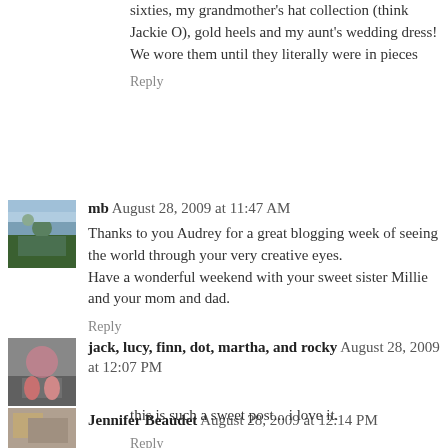sixties, my grandmother's hat collection (think Jackie O), gold heels and my aunt's wedding dress! We wore them until they literally were in pieces
Reply
mb  August 28, 2009 at 11:47 AM
Thanks to you Audrey for a great blogging week of seeing the world through your very creative eyes.
Have a wonderful weekend with your sweet sister Millie and your mom and dad.
Reply
jack, lucy, finn, dot, martha, and rocky  August 28, 2009 at 12:07 PM
this is such a sweet post... i love it.
Reply
Jennifer Beaudet  August 28, 2009 at 12:14 PM